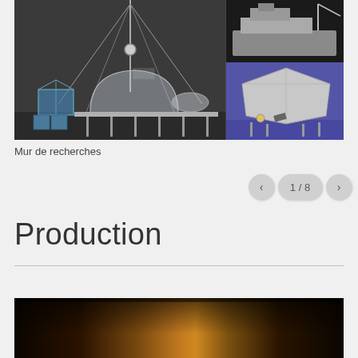[Figure (illustration): Two 3D rendered architectural/engineering illustrations side by side. Left: dark scene with crane mast, greenhouse structure, dome building, cylindrical tank, solar panel, on a dark platform. Right top: dark ship or vessel structure. Right bottom: geodesic dome on stilts over blue/purple water surface.]
Mur de recherches
1 / 8
Production
[Figure (photo): Dark bottom strip showing warm amber/golden tones, appears to be a dimly lit interior or flame-like light source]